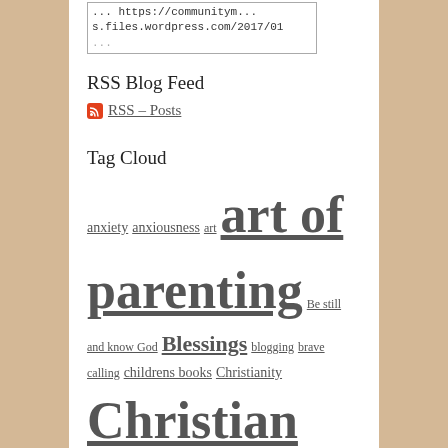https://communitym...s.files.wordpress.com/2017/01
RSS Blog Feed
RSS – Posts
Tag Cloud
anxiety anxiousness art art of parenting Be still and know God Blessings blogging brave calling childrens books Christianity Christian living Christian parenting Christmas community creativity depression education Faith family fear forgiveness God God's love Grace gratitude grieving home life home school homeschooling hope